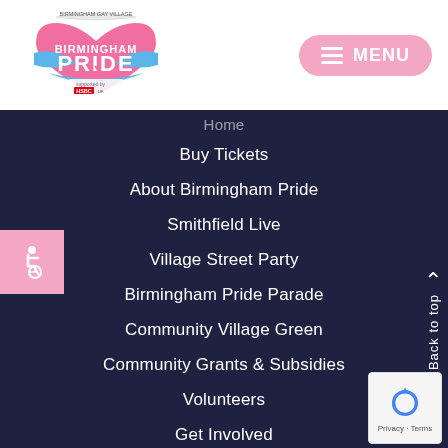[Figure (logo): Birmingham Pride logo with heart shape, pink and blue colors, HSBC UK sponsor, Birmingham Gay Village text at top]
[Figure (other): Pink rounded rectangle MENU button with hamburger icon and white text]
Home
Buy Tickets
About Birmingham Pride
Smithfield Live
Village Street Party
Birmingham Pride Parade
Community Village Green
Community Grants & Subsidies
Volunteers
Get Involved
Accessibility
[Figure (other): Pink accessibility wheelchair icon button on left side]
[Figure (other): Back to top arrow and label on right side]
[Figure (other): Google reCAPTCHA badge at bottom right with Privacy and Terms links]